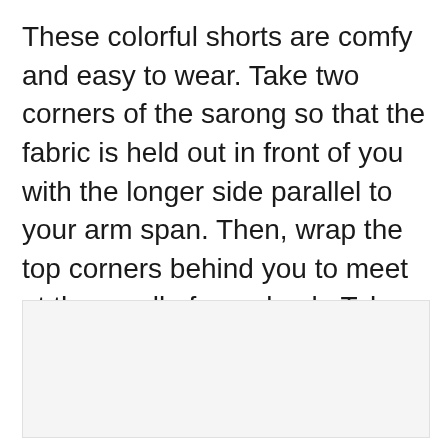These colorful shorts are comfy and easy to wear. Take two corners of the sarong so that the fabric is held out in front of you with the longer side parallel to your arm span. Then, wrap the top corners behind you to meet at the small of your back. Take the remaining fabric and pull it front to back between your legs, and tuck or tie it into the waist.
[Figure (other): Light gray rectangular placeholder image area]